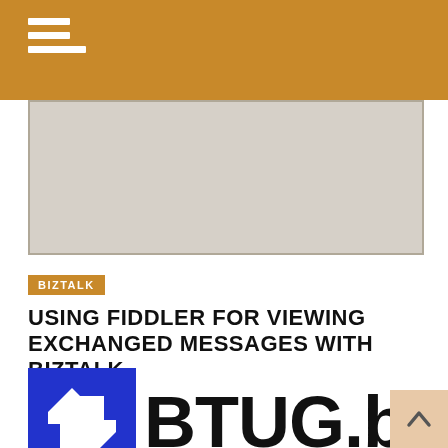[Figure (screenshot): Partial screenshot of a UI/form element with grey background]
BIZTALK
USING FIDDLER FOR VIEWING EXCHANGED MESSAGES WITH BIZTALK
[Figure (logo): BTUG.be logo: blue square with white up/down arrows icon on left, bold black text BTUG.be on right]